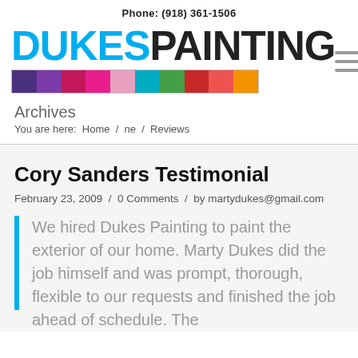Phone: (918) 361-1506
[Figure (logo): Dukes Painting logo with 'DUKES' in cyan and 'PAINTING' in dark gray/black, followed by a multi-color horizontal bar with swatches of purple, violet, magenta, pink, teal, green, red, and orange]
Archives
You are here:  Home  /  ne  /  Reviews
Cory Sanders Testimonial
February 23, 2009  /  0 Comments  /  by martydukes@gmail.com
We hired Dukes Painting to paint the exterior of our home. Marty Dukes did the job himself and was prompt, thorough, flexible to our requests and finished the job ahead of schedule. The